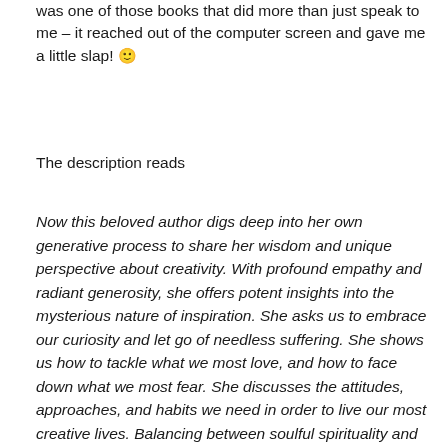was one of those books that did more than just speak to me – it reached out of the computer screen and gave me a little slap! 🙂
The description reads
Now this beloved author digs deep into her own generative process to share her wisdom and unique perspective about creativity. With profound empathy and radiant generosity, she offers potent insights into the mysterious nature of inspiration. She asks us to embrace our curiosity and let go of needless suffering. She shows us how to tackle what we most love, and how to face down what we most fear. She discusses the attitudes, approaches, and habits we need in order to live our most creative lives. Balancing between soulful spirituality and cheerful pragmatism, Gilbert encourages us to uncover